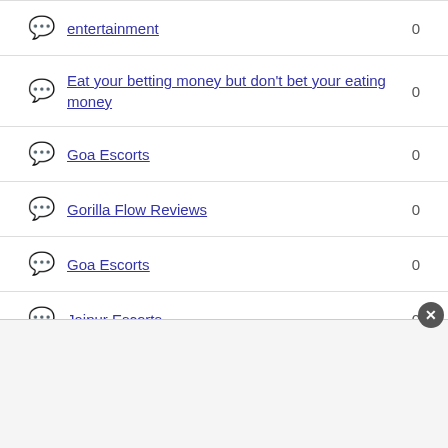entertainment  0
Eat your betting money but don't bet your eating money  0
Goa Escorts  0
Gorilla Flow Reviews  0
Goa Escorts  0
Jaipur Escorts  0